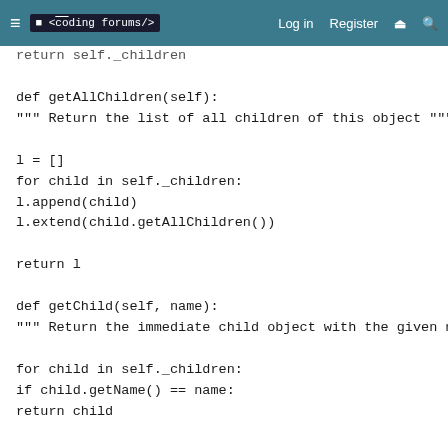≡  <coding forums/>   Log in   Register  ⚡  🔍
return self._children
def getAllChildren(self):
""" Return the list of all children of this object """

l = []
for child in self._children:
l.append(child)
l.extend(child.getAllChildren())

return l

def getChild(self, name):
""" Return the immediate child object with the given name """

for child in self._children:
if child.getName() == name:
return child

def findChild(self, name):